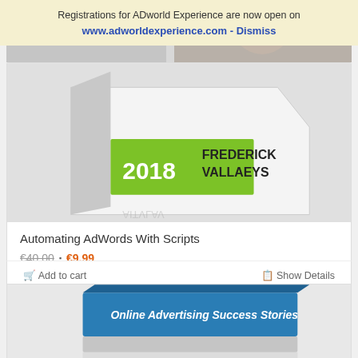Registrations for ADworld Experience are now open on www.adworldexperience.com - Dismiss
[Figure (photo): Product box image for 'Automating AdWords With Scripts' featuring '2018 Frederick Vallaeys' text on a green and white box]
Automating AdWords With Scripts
€40,00 · €9,99
Add to cart   Show Details
[Figure (photo): Product box image for 'Online Advertising Success Stories' featuring a blue box]